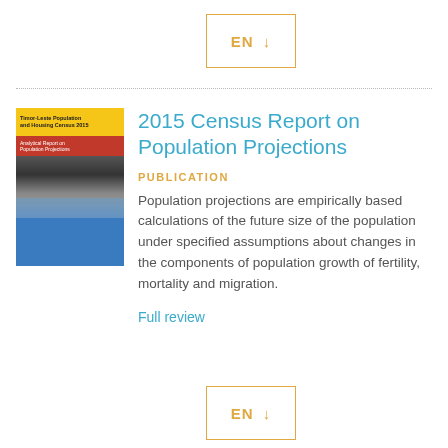[Figure (other): EN download button with orange border and orange text with down arrow]
[Figure (photo): Book cover of Timor-Leste Population and Housing Census 2015, Analytical Report on Population Projections]
2015 Census Report on Population Projections
PUBLICATION
Population projections are empirically based calculations of the future size of the population under specified assumptions about changes in the components of population growth of fertility, mortality and migration.
Full review
[Figure (other): EN download button with orange border and orange text with down arrow at bottom]